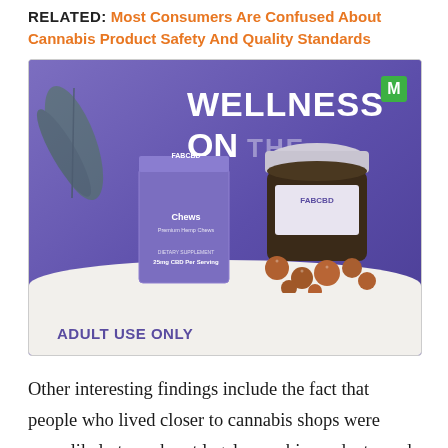RELATED: Most Consumers Are Confused About Cannabis Product Safety And Quality Standards
[Figure (photo): Advertisement image showing FAB CBD Chews product box and open jar with gummies spilled out on a white surface against a purple background. Text reads 'WELLNESS ON THE' and 'ADULT USE ONLY'.]
Other interesting findings include the fact that people who lived closer to cannabis shops were more likely to seek out legal cannabis products, and that